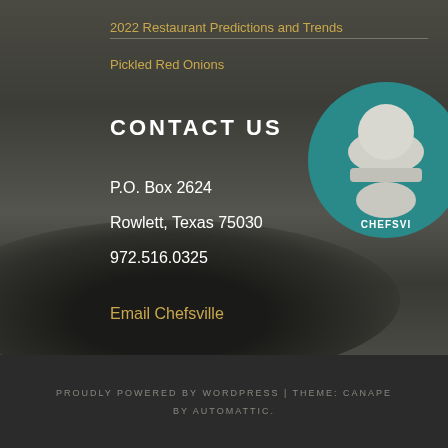2022 Restaurant Predictions and Trends
Pickled Red Onions
CONTACT US
P.O. Box 2624
Rowlett, Texas 75030
972.516.0325
Email Chefsville
[Figure (logo): Chefsville logo: teal circle with chef hat silhouette and text CHEFSVILLE]
PROUDLY POWERED BY WORDPRESS | THEME: CANAPE BY AUTOMATTIC.